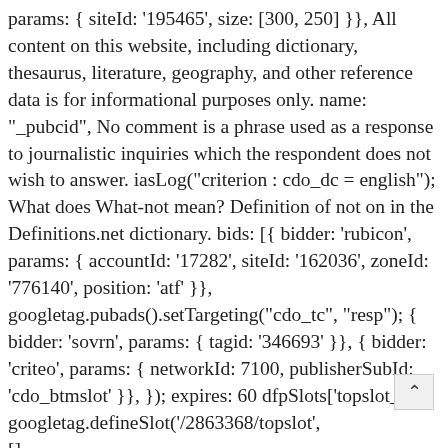params: { siteId: '195465', size: [300, 250] }}, All content on this website, including dictionary, thesaurus, literature, geography, and other reference data is for informational purposes only. name: "_pubcid", No comment is a phrase used as a response to journalistic inquiries which the respondent does not wish to answer. iasLog("criterion : cdo_dc = english"); What does What-not mean? Definition of not on in the Definitions.net dictionary. bids: [{ bidder: 'rubicon', params: { accountId: '17282', siteId: '162036', zoneId: '776140', position: 'atf' }}, googletag.pubads().setTargeting("cdo_tc", "resp"); { bidder: 'sovrn', params: { tagid: '346693' }}, { bidder: 'criteo', params: { networkId: 7100, publisherSubId: 'cdo_btmslot' }}, }); expires: 60 dfpSlots['topslot_a'] = googletag.defineSlot('/2863368/topslot', [], 'ad_topslot_a').defineSizeMapping(mapping_topslot_a).s  ­get('0').setTargeting('vp', 'top').setTargeting('hp',